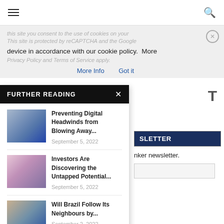Navigation header with hamburger menu and search icon
this site you consent to the use of cookies on your device in accordance with our cookie policy.  More Info  Got it
FURTHER READING
[Figure (photo): Blue IBM logo building thumbnail]
Preventing Digital Headwinds from Blowing Away...
September 5, 2022
[Figure (photo): Pink/purple city skyline thumbnail]
Investors Are Discovering the Untapped Potential...
September 5, 2022
[Figure (photo): City at dusk with bridge thumbnail]
Will Brazil Follow Its Neighbours by...
September 2, 2022
SLETTER
nker newsletter.